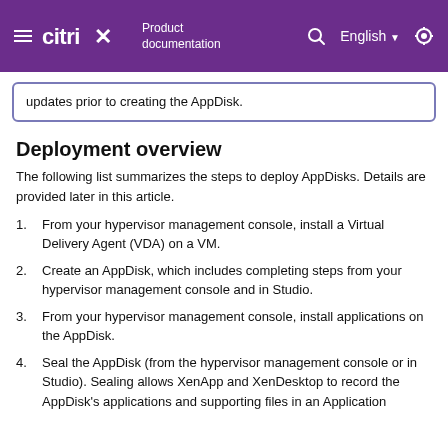Citrix Product documentation | English
updates prior to creating the AppDisk.
Deployment overview
The following list summarizes the steps to deploy AppDisks. Details are provided later in this article.
From your hypervisor management console, install a Virtual Delivery Agent (VDA) on a VM.
Create an AppDisk, which includes completing steps from your hypervisor management console and in Studio.
From your hypervisor management console, install applications on the AppDisk.
Seal the AppDisk (from the hypervisor management console or in Studio). Sealing allows XenApp and XenDesktop to record the AppDisk's applications and supporting files in an Application